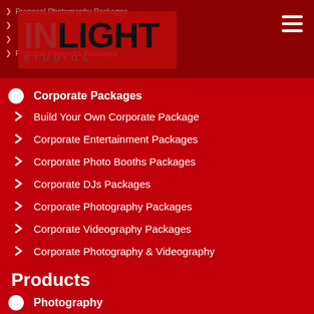[Figure (logo): InLight Studios logo with red background and hamburger menu icon]
Proposal Photography Packages
Proposal Fireworks Packages
Corporate Packages
Build Your Own Corporate Package
Corporate Entertainment Packages
Corporate Photo Booths Packages
Corporate DJs Packages
Corporate Photography Packages
Corporate Videography Packages
Corporate Photography & Videography
Products
Photography
Wedding Photography
Party Photography